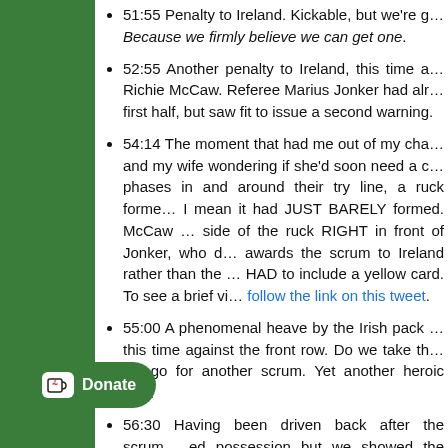51:55 Penalty to Ireland. Kickable, but we're going for the corner. Because we firmly believe we can get one.
52:55 Another penalty to Ireland, this time awarded against Richie McCaw. Referee Marius Jonker had already warned him in the first half, but saw fit to issue a second warning.
54:14 The moment that had me out of my chair screaming, and my wife wondering if she'd soon need a doctor. After phases in and around their try line, a ruck formed – and I mean it had JUST BARELY formed. McCaw comes in on the wrong side of the ruck RIGHT in front of Jonker, who does nothing and awards the scrum to Ireland rather than the penalty that HAD to include a yellow card. To see a brief video of this, follow the link on this tweet.
55:00 A phenomenal heave by the Irish pack at the scrum, this time against the front row. Do we take the points or do we go for another scrum. Yet another heroic decision.
56:30 Having been driven back after the scrum, Ireland gained possession but we showed the confidence. Conor Murray exploits a gap, tries to find Heaslip, ball goes altogether and who is there but Captain Fantast...